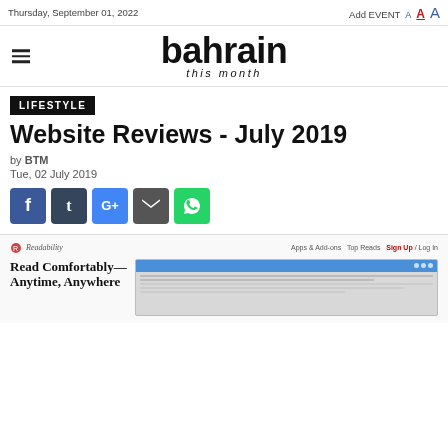Thursday, September 01, 2022  Add EVENT  A  A  A
[Figure (logo): Bahrain This Month website logo with hamburger menu icon]
LIFESTYLE
Website Reviews - July 2019
by BTM
Tue, 02 July 2019
[Figure (screenshot): Social sharing buttons: Facebook, Tumblr, Google+, Email, WhatsApp]
[Figure (screenshot): Screenshot of Readability website showing 'Read Comfortably — Anytime, Anywhere' headline with browser screenshot]